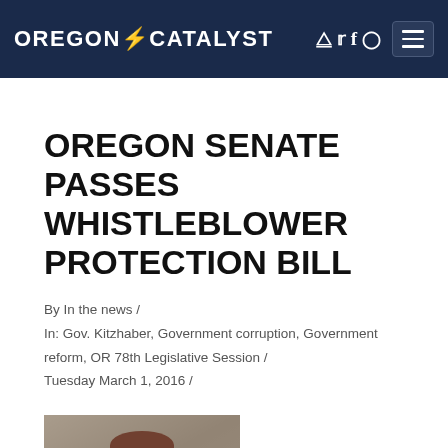OREGON CATALYST
OREGON SENATE PASSES WHISTLEBLOWER PROTECTION BILL
By In the news /
In: Gov. Kitzhaber, Government corruption, Government reform, OR 78th Legislative Session /
Tuesday March 1, 2016 /
[Figure (photo): Headshot photo of a man, cropped at bottom of frame]